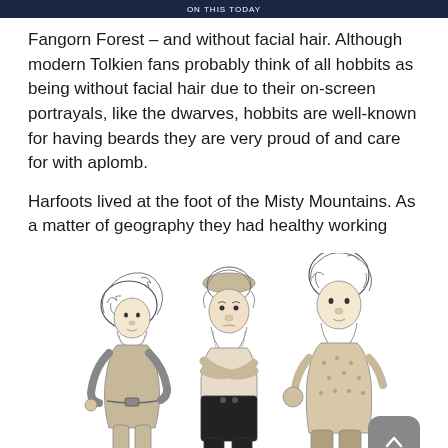ON THIS TODAY
Fangorn Forest – and without facial hair. Although modern Tolkien fans probably think of all hobbits as being without facial hair due to their on-screen portrayals, like the dwarves, hobbits are well-known for having beards they are very proud of and care for with aplomb.
Harfoots lived at the foot of the Misty Mountains. As a matter of geography they had healthy working
[Figure (illustration): Pencil sketch illustration of three hobbit figures standing together. Left figure is short and stout with curly hair, wearing simple clothes. Middle figure is taller with arms crossed, wearing dark pants and boots. Right figure is taller with curly hair, wearing a patterned jacket.]